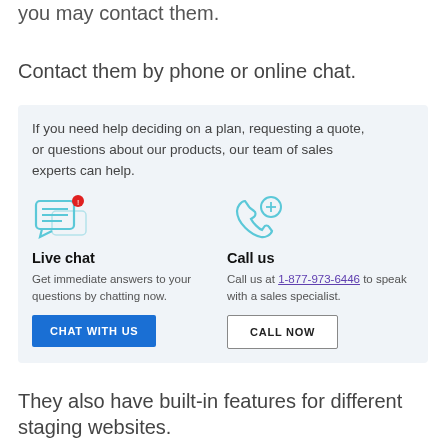if you have any problems with your website, you may contact them.
Contact them by phone or online chat.
If you need help deciding on a plan, requesting a quote, or questions about our products, our team of sales experts can help.
[Figure (illustration): Live chat icon: speech bubble with horizontal lines and a red notification badge]
Live chat
Get immediate answers to your questions by chatting now.
[Figure (illustration): Call us icon: phone handset with a plus sign circle]
Call us
Call us at 1-877-973-6446 to speak with a sales specialist.
They also have built-in features for different staging websites.